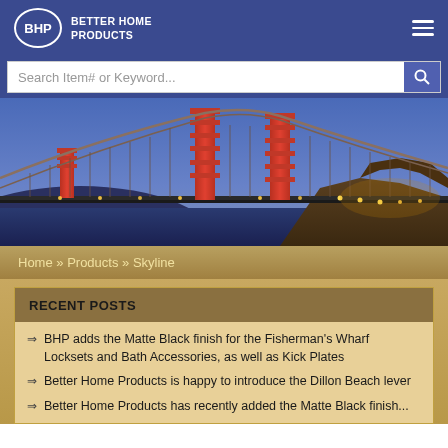[Figure (logo): BHP Better Home Products logo with oval border on dark blue header background]
Search Item# or Keyword...
[Figure (photo): Golden Gate Bridge at dusk/night with city lights, blue sky background]
Home » Products » Skyline
RECENT POSTS
BHP adds the Matte Black finish for the Fisherman's Wharf Locksets and Bath Accessories, as well as Kick Plates
Better Home Products is happy to introduce the Dillon Beach lever
Better Home Products has recently added the Matte Black finish on Shore...